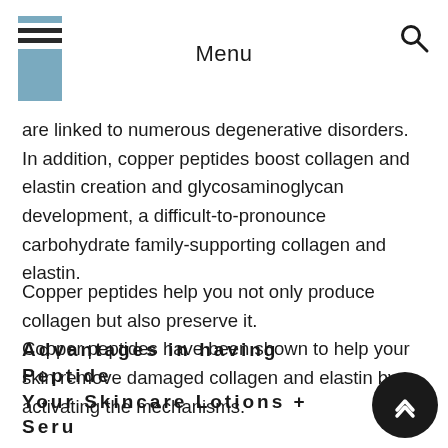Menu
are linked to numerous degenerative disorders. In addition, copper peptides boost collagen and elastin creation and glycosaminoglycan development, a difficult-to-pronounce carbohydrate family-supporting collagen and elastin.
Copper peptides help you not only produce collagen but also preserve it. Copper peptides have been shown to help your skin remove damaged collagen and elastin by activating the mechanisms.
Advantages in having Peptides in Your Skincare Lotions + Serums